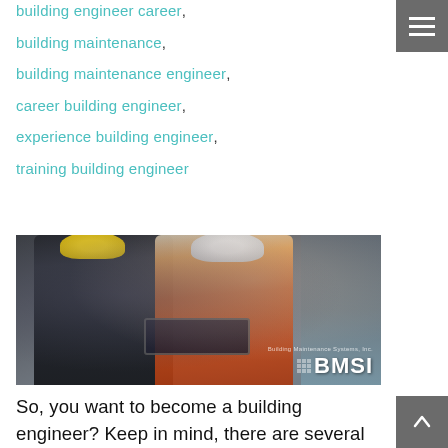building engineer career,
building maintenance,
building maintenance engineer,
career building engineer,
experience building engineer,
training building engineer
[Figure (photo): Two building engineers wearing hard hats looking at a tablet device, with industrial machinery in the background. BMSI (Building Maintenance Systems, Inc.) logo in bottom right corner.]
So, you want to become a building engineer? Keep in mind, there are several disciplines building engineers